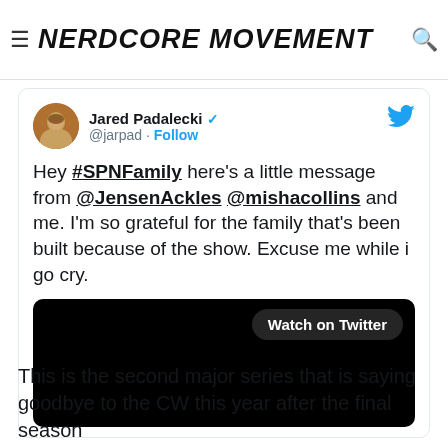NERDCORE MOVEMENT
[Figure (screenshot): Tweet from Jared Padalecki (@jarpad) with verified badge and Follow button. Tweet text: Hey #SPNFamily here’s a little message from @JensenAckles @mishacollins and me. I’m so grateful for the family that’s been built because of the show. Excuse me while i go cry. Embedded video with Watch on Twitter button.]
This is the second major series that is saying goodbye to the CW this year after the final season